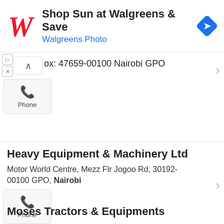[Figure (screenshot): Walgreens advertisement banner with logo, text 'Shop Sun at Walgreens & Save' and 'Walgreens Photo', and a blue navigation icon]
ox: 47659-00100 Nairobi GPO
Phone
Heavy Equipment & Machinery Ltd
Motor World Centre, Mezz Flr Jogoo Rd, 30192-00100 GPO, Nairobi
Phone
Moses Tractors & Equipments